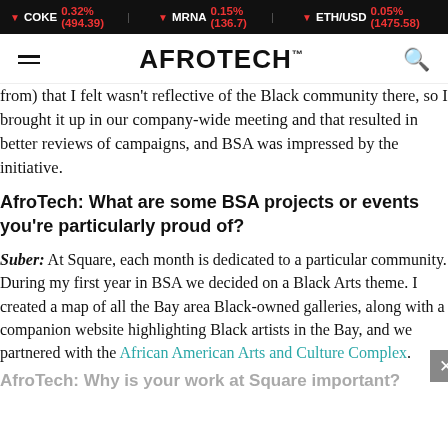▼ COKE 0.32% (494.39) | ▼ MRNA 0.15% (136.7) | ▼ ETH/USD 0.05% (1475.58)
AFROTECH™
from) that I felt wasn't reflective of the Black community there, so I brought it up in our company-wide meeting and that resulted in better reviews of campaigns, and BSA was impressed by the initiative.
AfroTech: What are some BSA projects or events you're particularly proud of?
Suber: At Square, each month is dedicated to a particular community. During my first year in BSA we decided on a Black Arts theme. I created a map of all the Bay area Black-owned galleries, along with a companion website highlighting Black artists in the Bay, and we partnered with the African American Arts and Culture Complex.
AfroTech: Why is your work at Square important?